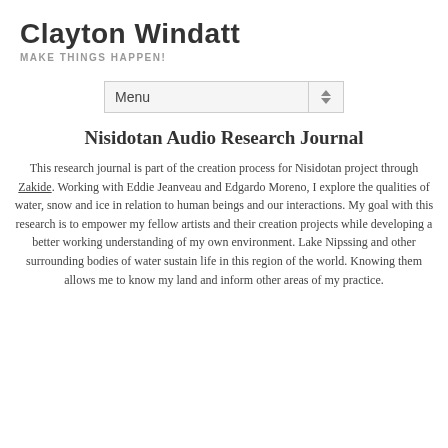Clayton Windatt
MAKE THINGS HAPPEN!
[Figure (screenshot): Navigation menu dropdown widget showing 'Menu' with up/down arrow]
Nisidotan Audio Research Journal
This research journal is part of the creation process for Nisidotan project through Zakide. Working with Eddie Jeanveau and Edgardo Moreno, I explore the qualities of water, snow and ice in relation to human beings and our interactions. My goal with this research is to empower my fellow artists and their creation projects while developing a better working understanding of my own environment. Lake Nipssing and other surrounding bodies of water sustain life in this region of the world. Knowing them allows me to know my land and inform other areas of my practice.